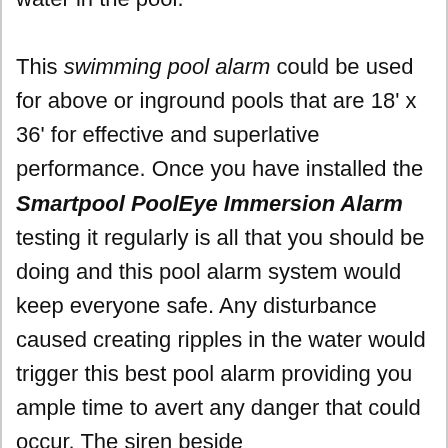water in the pool. This swimming pool alarm could be used for above or inground pools that are 18' x 36' for effective and superlative performance. Once you have installed the Smartpool PoolEye Immersion Alarm testing it regularly is all that you should be doing and this pool alarm system would keep everyone safe. Any disturbance caused creating ripples in the water would trigger this best pool alarm providing you ample time to avert any danger that could occur. The siren beside